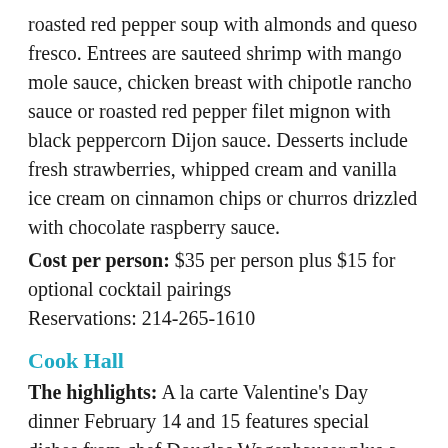roasted red pepper soup with almonds and queso fresco. Entrees are sauteed shrimp with mango mole sauce, chicken breast with chipotle rancho sauce or roasted red pepper filet mignon with black peppercorn Dijon sauce. Desserts include fresh strawberries, whipped cream and vanilla ice cream on cinnamon chips or churros drizzled with chocolate raspberry sauce.
Cost per person: $35 per person plus $15 for optional cocktail pairings
Reservations: 214-265-1610
Cook Hall
The highlights: A la carte Valentine's Day dinner February 14 and 15 features special dishes from chef Douglas Wagenhauser plus a Champagne cocktail kit. Menu options include seafood platter for two, mushroom ravioli, Arctic char with miso, potato puree, beef tenderloin and vanilla